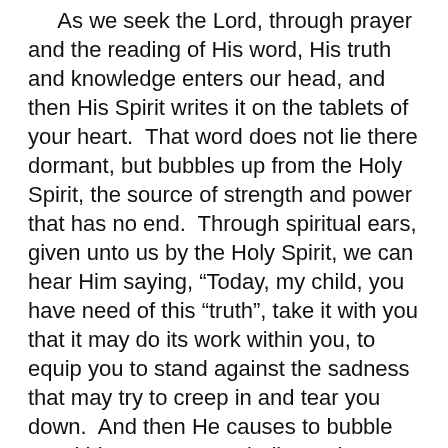As we seek the Lord, through prayer and the reading of His word, His truth and knowledge enters our head, and then His Spirit writes it on the tablets of your heart.  That word does not lie there dormant, but bubbles up from the Holy Spirit, the source of strength and power that has no end.  Through spiritual ears, given unto us by the Holy Spirit, we can hear Him saying, “Today, my child, you have need of this “truth”, take it with you that it may do its work within you, to equip you to stand against the sadness that may try to creep in and tear you down.  And then He causes to bubble up within you a power ball promise as He speaks to your heart; “The joy of the Lord is your strength. My grace is sufficient within you to meet your needs, no matter what situations or circumstances may burst forth into your life.  No, you will not be spared suffering or hardships, but I am with you to help you through them.  So when you may ‘feel’ downhearted, let it